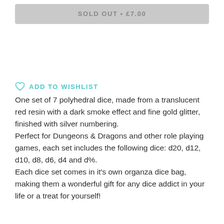SOLD OUT • £7.00
ADD TO WISHLIST
One set of 7 polyhedral dice, made from a translucent red resin with a dark smoke effect and fine gold glitter, finished with silver numbering.
Perfect for Dungeons & Dragons and other role playing games, each set includes the following dice: d20, d12, d10, d8, d6, d4 and d%.
Each dice set comes in it's own organza dice bag, making them a wonderful gift for any dice addict in your life or a treat for yourself!